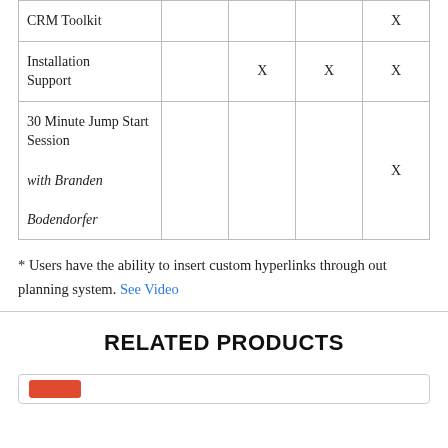| Feature |  |  |  |  |
| --- | --- | --- | --- | --- |
| CRM Toolkit |  |  |  | X |
| Installation Support |  | X | X | X |
| 30 Minute Jump Start Session with Branden Bodendorfer |  |  |  | X |
* Users have the ability to insert custom hyperlinks through out planning system. See Video
RELATED PRODUCTS